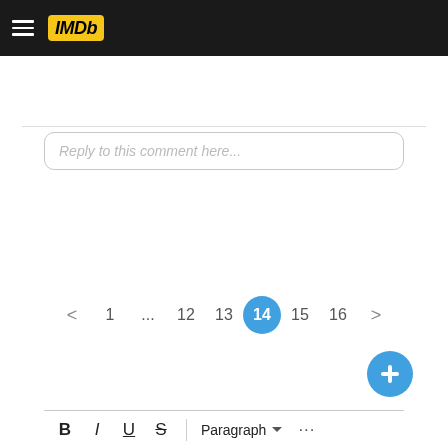[Figure (screenshot): IMDb website navigation bar with hamburger menu and yellow IMDb logo on dark background]
Reply to this comment here...
< 1 ... 12 13 14 15 16 >
Comment on this post here...
B I U S Paragraph ...